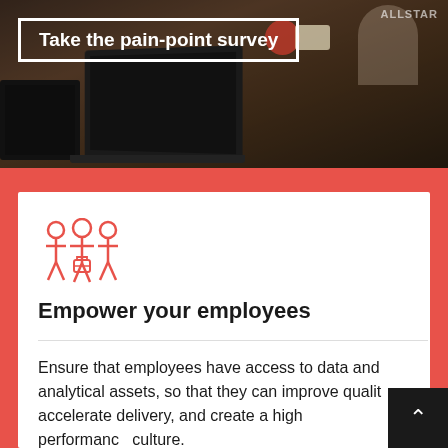[Figure (photo): Photograph of people working around a table with laptops and stickers, dimmed/dark toned workspace scene]
Take the pain-point survey
[Figure (illustration): Red icon of three business people silhouettes with a briefcase]
Empower your employees
Ensure that employees have access to data and analytical assets, so that they can improve quality, accelerate delivery, and create a high performance culture.